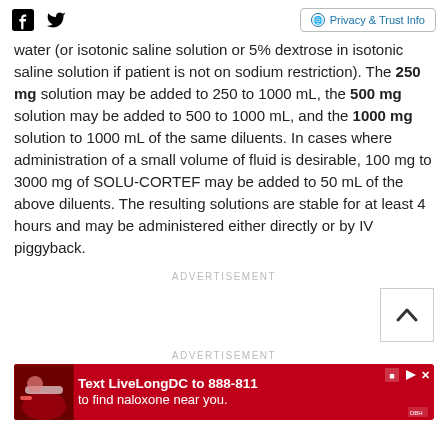Social icons and Privacy & Trust Info
water (or isotonic saline solution or 5% dextrose in isotonic saline solution if patient is not on sodium restriction). The 250 mg solution may be added to 250 to 1000 mL, the 500 mg solution may be added to 500 to 1000 mL, and the 1000 mg solution to 1000 mL of the same diluents. In cases where administration of a small volume of fluid is desirable, 100 mg to 3000 mg of SOLU-CORTEF may be added to 50 mL of the above diluents. The resulting solutions are stable for at least 4 hours and may be administered either directly or by IV piggyback.
ADVERTISEMENT
ADVERTISEMENT
[Figure (other): Red advertisement banner: Text LiveLongDC to 888-811 to find naloxone near you.]